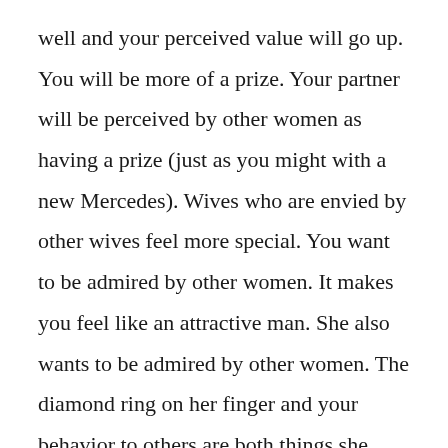well and your perceived value will go up. You will be more of a prize. Your partner will be perceived by other women as having a prize (just as you might with a new Mercedes). Wives who are envied by other wives feel more special. You want to be admired by other women. It makes you feel like an attractive man. She also wants to be admired by other women. The diamond ring on her finger and your behavior to others are both things she shows off to get that